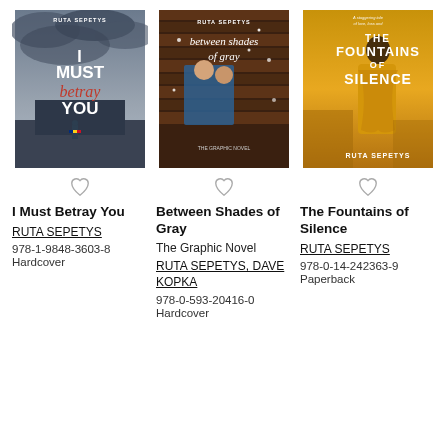[Figure (illustration): Book cover: I Must Betray You by Ruta Sepetys — dark cloudy sky, figure with Romanian flag]
[Figure (illustration): Book cover: Between Shades of Gray The Graphic Novel by Ruta Sepetys — illustrated figures behind wooden slats with snowflakes]
[Figure (illustration): Book cover: The Fountains of Silence by Ruta Sepetys — woman in yellow dress against golden background]
I Must Betray You
RUTA SEPETYS
978-1-9848-3603-8
Hardcover
Between Shades of Gray
The Graphic Novel
RUTA SEPETYS, DAVE KOPKA
978-0-593-20416-0
Hardcover
The Fountains of Silence
RUTA SEPETYS
978-0-14-242363-9
Paperback